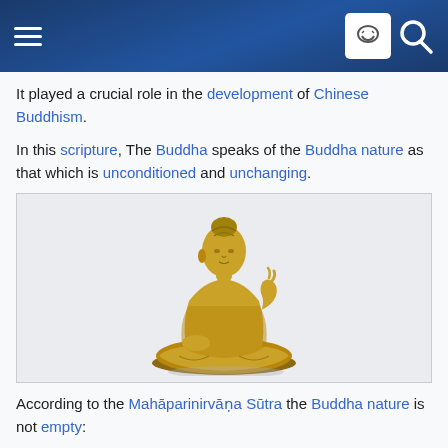Wikipedia mobile header with hamburger menu and search icon
It played a crucial role in the development of Chinese Buddhism.
In this scripture, The Buddha speaks of the Buddha nature as that which is unconditioned and unchanging.
[Figure (photo): Golden Buddha statue in seated meditation pose (3D render), facing left with right hand raised in a teaching gesture.]
According to the Mahāparinirvāṇa Sūtra the Buddha nature is not empty:
Nor can the Tathāgata-garbha simply be dismissed as 'emptiness', since The Buddha castigates those who view